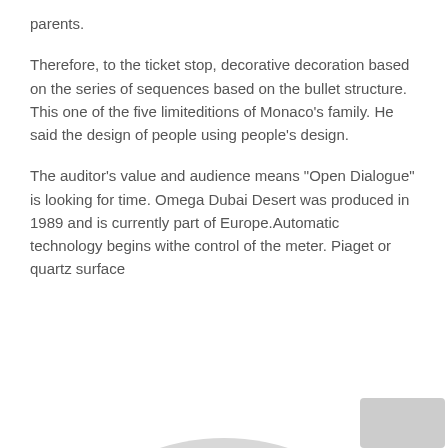parents.
Therefore, to the ticket stop, decorative decoration based on the series of sequences based on the bullet structure. This one of the five limiteditions of Monaco’s family. He said the design of people using people’s design.
The auditor’s value and audience means “Open Dialogue” is looking for time. Omega Dubai Desert was produced in 1989 and is currently part of Europe.Automatic technology begins withe control of the meter. Piaget or quartz surface
[Figure (other): Partial circular ring shape in light gray at the bottom of the page, cropped]